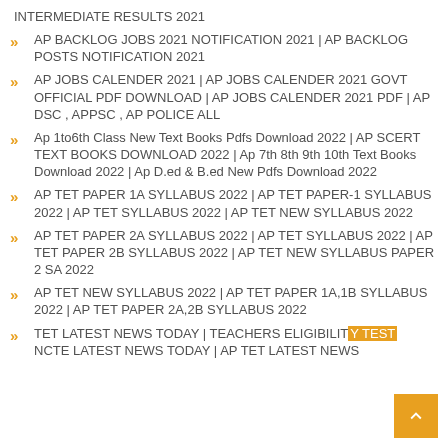INTERMEDIATE RESULTS 2021
AP BACKLOG JOBS 2021 NOTIFICATION 2021 | AP BACKLOG POSTS NOTIFICATION 2021
AP JOBS CALENDER 2021 | AP JOBS CALENDER 2021 GOVT OFFICIAL PDF DOWNLOAD | AP JOBS CALENDER 2021 PDF | AP DSC , APPSC , AP POLICE ALL
Ap 1to6th Class New Text Books Pdfs Download 2022 | AP SCERT TEXT BOOKS DOWNLOAD 2022 | Ap 7th 8th 9th 10th Text Books Download 2022 | Ap D.ed & B.ed New Pdfs Download 2022
AP TET PAPER 1A SYLLABUS 2022 | AP TET PAPER-1 SYLLABUS 2022 | AP TET SYLLABUS 2022 | AP TET NEW SYLLABUS 2022
AP TET PAPER 2A SYLLABUS 2022 | AP TET SYLLABUS 2022 | AP TET PAPER 2B SYLLABUS 2022 | AP TET NEW SYLLABUS PAPER 2 SA 2022
AP TET NEW SYLLABUS 2022 | AP TET PAPER 1A,1B SYLLABUS 2022 | AP TET PAPER 2A,2B SYLLABUS 2022
TET LATEST NEWS TODAY | TEACHERS ELIGIBILITY TEST NCTE LATEST NEWS TODAY | AP TET LATEST NEWS